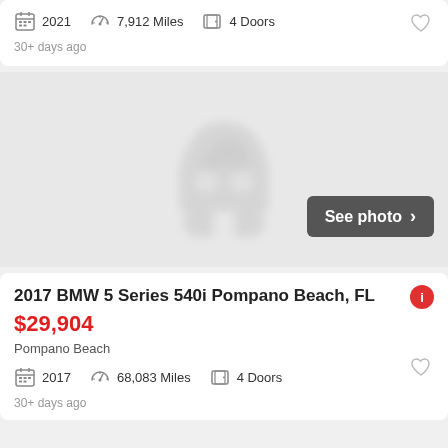2021  7,912 Miles  4 Doors
30+ days ago
[Figure (illustration): Car placeholder silhouette icon on grey background with 'See photo >' button]
2017 BMW 5 Series 540i Pompano Beach, FL
$29,904
Pompano Beach
2017  68,083 Miles  4 Doors
30+ days ago